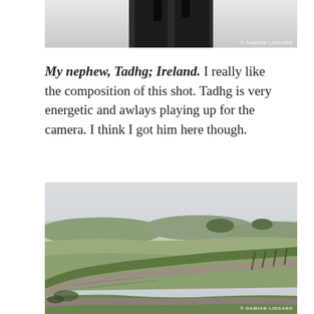[Figure (photo): Partial photo of a person (nephew Tadhg) from the legs/lower body, dark clothing, light background. Watermark: © Damian Lidgard]
My nephew, Tadhg; Ireland. I really like the composition of this shot. Tadhg is very energetic and awlays playing up for the camera. I think I got him here though.
[Figure (photo): Landscape photo of Hadrian's Wall, Ireland/England. Green grassy hills with ancient stone wall running across the rolling countryside under a grey overcast sky. Watermark: © Damian Lidgard]